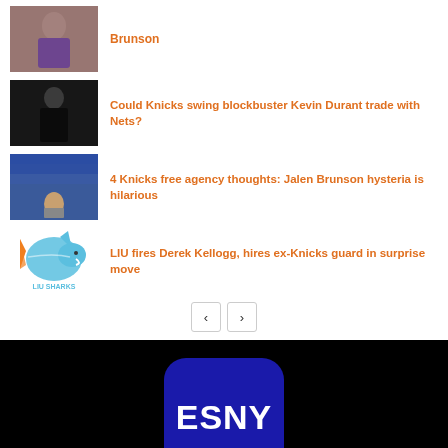Brunson
[Figure (photo): Basketball player photo - Brunson article thumbnail]
Could Knicks swing blockbuster Kevin Durant trade with Nets?
[Figure (photo): Kevin Durant basketball photo thumbnail]
4 Knicks free agency thoughts: Jalen Brunson hysteria is hilarious
[Figure (photo): Practice court photo thumbnail]
LIU fires Derek Kellogg, hires ex-Knicks guard in surprise move
[Figure (logo): LIU Sharks mascot logo]
[Figure (logo): ESNY logo on black background]